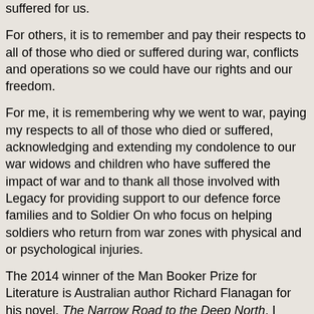suffered for us.
For others, it is to remember and pay their respects to all of those who died or suffered during war, conflicts and operations so we could have our rights and our freedom.
For me, it is remembering why we went to war, paying my respects to all of those who died or suffered, acknowledging and extending my condolence to our war widows and children who have suffered the impact of war and to thank all those involved with Legacy for providing support to our defence force families and to Soldier On who focus on helping soldiers who return from war zones with physical and or psychological injuries.
The 2014 winner of the Man Booker Prize for Literature is Australian author Richard Flanagan for his novel, The Narrow Road to the Deep North. I mention this today because Flanagan drew deeply from the conversations he had with his late father about his experience as a slave labourer on the Thai-Burma Railway during WWII. He tells the story of the exploration of mateship, writing of the shared suffering that bound those men tightly together in the jungle.
It took Flanagan a long time to write this story because he felt he had to be a good enough writer to dare write it.
His father was a POW working on the death railway and he held many conversations with him about death, love and